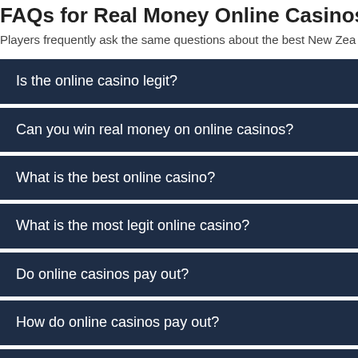FAQs for Real Money Online Casinos in N…
Players frequently ask the same questions about the best New Zea…
Is the online casino legit?
Can you win real money on online casinos?
What is the best online casino?
What is the most legit online casino?
Do online casinos pay out?
How do online casinos pay out?
Which online casino is the easiest to win?
Why are online casino payout rates so important?